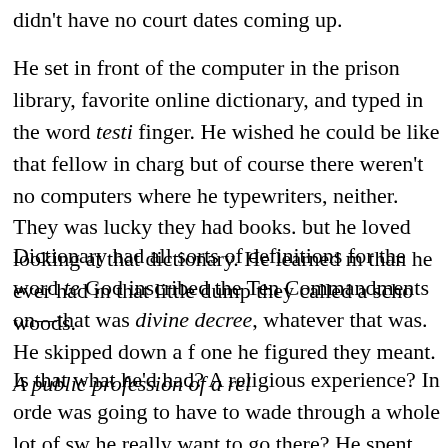didn't have no court dates coming up.
He set in front of the computer in the prison library, favorite online dictionary, and typed in the word testi finger. He wished he could be like that fellow in charg but of course there weren't no computers where he typewriters, neither. They was lucky they had books. but he loved looking at that dictionary. He learned m than he ever had in that little dump they called a scho woods.
Dictionary had all sorts of definitions for the word te God inscribed the Ten Commandments on—that was divine decree, whatever that was. He skipped down a one he figured they meant. A public profession of a rel
Is that what he'd had? A religious experience? In orde was going to have to wade through a whole lot of sw he really want to go there? He spent three years tryi that terrible day. What good would it do to bring it up